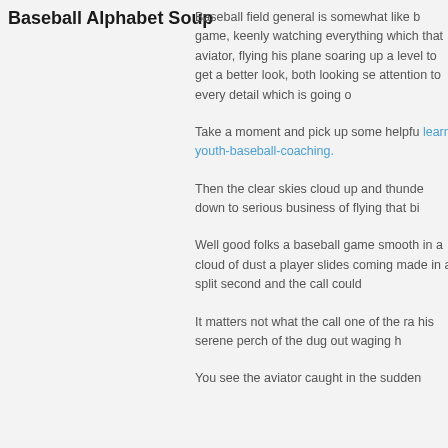Baseball Alphabet Soup
Baseball field general is somewhat like b game, keenly watching everything which that aviator, flying his plane soaring up a level to get a better look, both looking se attention to every detail which is going o
Take a moment and pick up some helpfu learn-youth-baseball-coaching.
Then the clear skies cloud up and thunde down to serious business of flying that bi
Well good folks a baseball game smooth in a cloud of dust a player slides coming made in a split second and the call could
It matters not what the call one of the ra his serene perch of the dug out waging h
You see the aviator caught in the sudden